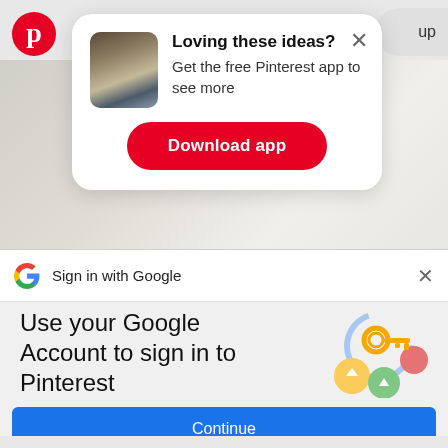[Figure (screenshot): Pinterest logo - red circle with white P]
[Figure (screenshot): Pinterest app download popup card with thumbnail image of decorated room, title 'Loving these ideas?', subtitle 'Get the free Pinterest app to see more', and a red Download app button]
up
[Figure (screenshot): Background photo of a decorated interior room, partially visible behind the popup]
[Figure (screenshot): Google logo G multicolor icon]
Sign in with Google
Use your Google Account to sign in to Pinterest
No more passwords to remember.
Signing in is fast, simple and secure.
[Figure (illustration): Google key illustration with colorful circles and a gold key icon]
Continue